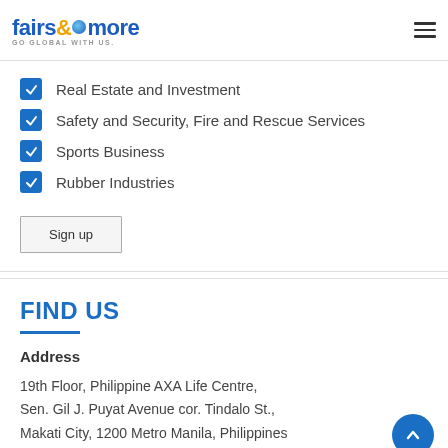[Figure (logo): fairs&more logo with tagline GO GLOBAL WITH US.]
Real Estate and Investment
Safety and Security, Fire and Rescue Services
Sports Business
Rubber Industries
Sign up
FIND US
Address
19th Floor, Philippine AXA Life Centre,
Sen. Gil J. Puyat Avenue cor. Tindalo St.,
Makati City, 1200 Metro Manila, Philippines